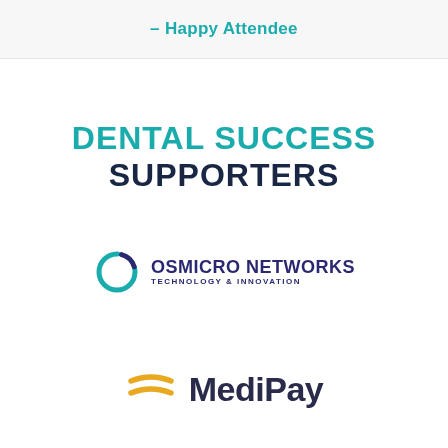- Happy Attendee
DENTAL SUCCESS SUPPORTERS
[Figure (logo): Osmicro Networks Technology & Innovation logo — circular icon with teal/blue ring and gap, beside company name in dark navy text]
[Figure (logo): MediPay logo — two gold/yellow horizontal curved lines (like a stylized equal sign or smile) beside the word MediPay in dark navy, semi-bold font]